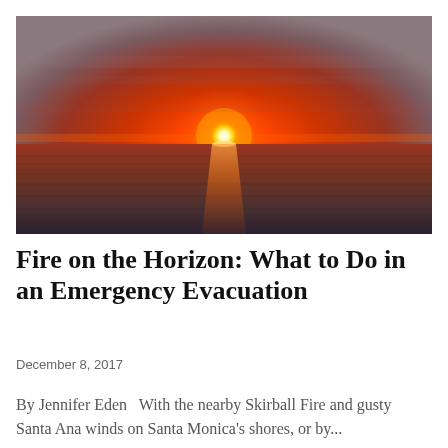[Figure (photo): A dramatic sunset over the ocean. The sky is deep orange and red with the bright white sun near the horizon, reflecting on the calm water below.]
Fire on the Horizon: What to Do in an Emergency Evacuation
December 8, 2017
By Jennifer Eden   With the nearby Skirball Fire and gusty Santa Ana winds on Santa Monica's shores, or by...